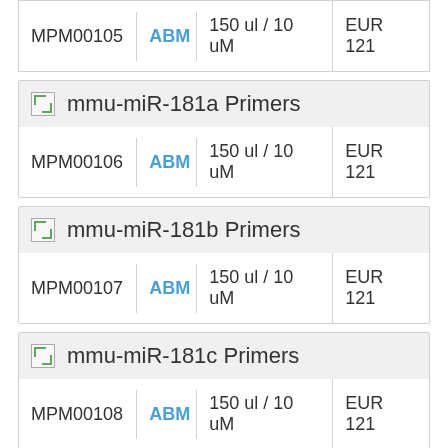| Cat# | Brand | Size | Price |
| --- | --- | --- | --- |
| MPM00105 | ABM | 150 ul / 10 uM | EUR 121 |
mmu-miR-181a Primers
| Cat# | Brand | Size | Price |
| --- | --- | --- | --- |
| MPM00106 | ABM | 150 ul / 10 uM | EUR 121 |
mmu-miR-181b Primers
| Cat# | Brand | Size | Price |
| --- | --- | --- | --- |
| MPM00107 | ABM | 150 ul / 10 uM | EUR 121 |
mmu-miR-181c Primers
| Cat# | Brand | Size | Price |
| --- | --- | --- | --- |
| MPM00108 | ABM | 150 ul / 10 uM | EUR 121 |